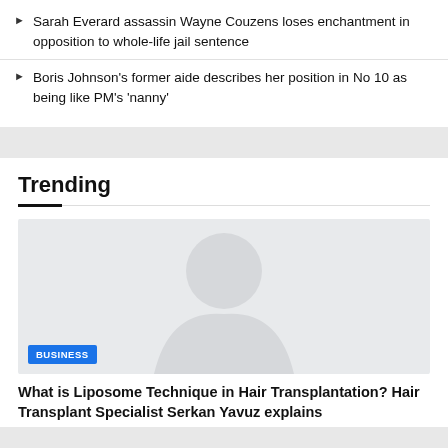Sarah Everard assassin Wayne Couzens loses enchantment in opposition to whole-life jail sentence
Boris Johnson's former aide describes her position in No 10 as being like PM's 'nanny'
Trending
[Figure (photo): Placeholder image with faint silhouette graphic, with a BUSINESS badge overlay in blue]
What is Liposome Technique in Hair Transplantation? Hair Transplant Specialist Serkan Yavuz explains